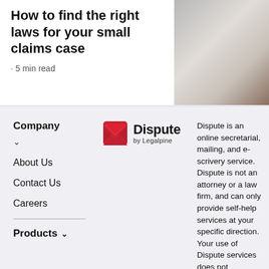How to find the right laws for your small claims case
· 5 min read
[Figure (photo): A person holding papers or a document, shown from the torso down, soft background.]
Company
About Us
Contact Us
Careers
Products
[Figure (logo): Dispute by Legalpine logo — red envelope icon with 'Dispute' in bold and 'by Legalpine' subtitle.]
Dispute is an online secretarial, mailing, and e-scrivery service. Dispute is not an attorney or a law firm, and can only provide self-help services at your specific direction. Your use of Dispute services does not